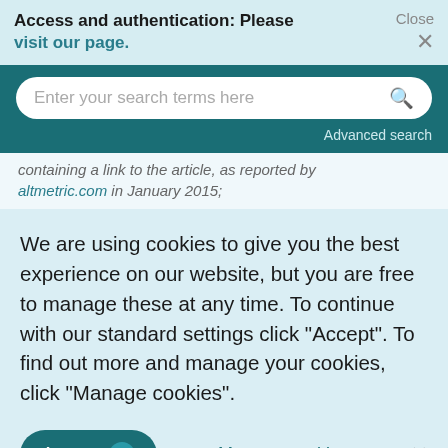Access and authentication: Please visit our page.
[Figure (screenshot): Search bar with placeholder text 'Enter your search terms here' and a search icon, on a dark teal background, with 'Advanced search' link below]
containing a link to the article, as reported by altmetric.com in January 2015;
We are using cookies to give you the best experience on our website, but you are free to manage these at any time. To continue with our standard settings click "Accept". To find out more and manage your cookies, click "Manage cookies".
Accept   Manage cookies
reported by altmetric.com in January 2015;
Bloggers: number of Bloggers with a post